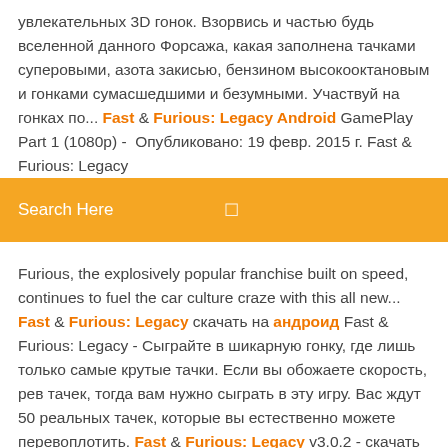увлекательных 3D гонок. Взорвись и частью будь вселенной данного Форсажа, какая заполнена тачками суперовыми, азота закисью, бензином высокооктановым и гонками сумасшедшими и безумными. Участвуй на гонках по... Fast & Furious: Legacy Android GamePlay Part 1 (1080p) - Опубликовано: 19 февр. 2015 г. Fast & Furious: Legacy
Search Here
Furious, the explosively popular franchise built on speed, continues to fuel the car culture craze with this all new... Fast & Furious: Legacy скачать на андроид Fast & Furious: Legacy - Сыграйте в шикарную гонку, где лишь только самые крутые тачки. Если вы обожаете скорость, рев тачек, тогда вам нужно сыграть в эту игру. Вас ждут 50 реальных тачек, которые вы естественно можете перевоплотить. Fast & Furious: Legacy v3.0.2 - скачать андроид... |... Fast & Furious: Legacy — гоняйте на быстрых суперкарах в этой